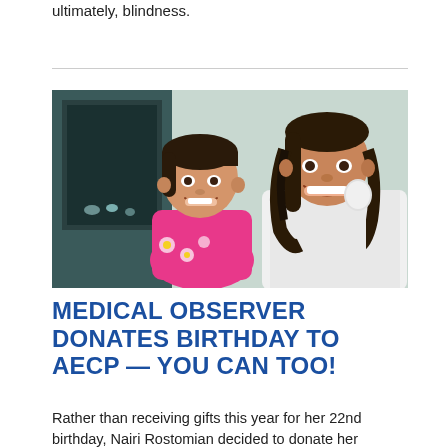ultimately, blindness.
[Figure (photo): A smiling young girl in a pink floral dress poses cheek-to-cheek with a smiling young woman in a white medical coat who is holding an ophthalmology examination instrument.]
MEDICAL OBSERVER DONATES BIRTHDAY TO AECP — YOU CAN TOO!
Rather than receiving gifts this year for her 22nd birthday, Nairi Rostomian decided to donate her